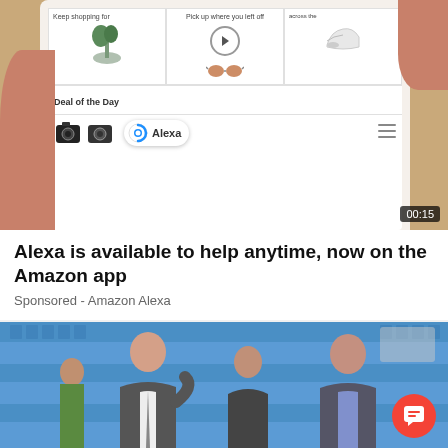[Figure (screenshot): Amazon app screenshot on smartphone showing shopping sections: 'Keep shopping for', 'Pick up where you left off', 'across the...', product images including a plant, sunglasses, and shoe. 'Deal of the Day' section with cameras and an Alexa badge. Video timer showing 00:15. Hands holding the phone visible on left and right sides. Warm tan/gold background.]
Alexa is available to help anytime, now on the Amazon app
Sponsored - Amazon Alexa
[Figure (photo): Photo of two men in suits (one on left, one on right) with a person partially visible in the middle, standing in front of blue stadium seats. A red circular chat button is visible in the bottom right corner.]